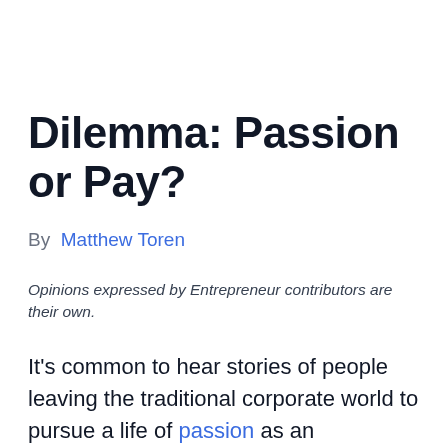Dilemma: Passion or Pay?
By Matthew Toren
Opinions expressed by Entrepreneur contributors are their own.
It's common to hear stories of people leaving the traditional corporate world to pursue a life of passion as an entrepreneur -- but does